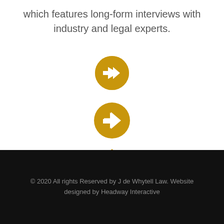which features long-form interviews with industry and legal experts.
[Figure (illustration): Golden circular arrow icon (right-pointing arrow in a circle)]
[Figure (illustration): Golden house/home icon]
© 2020 All rights Reserved by J de Whytell Law. Website designed by Headway Interactive